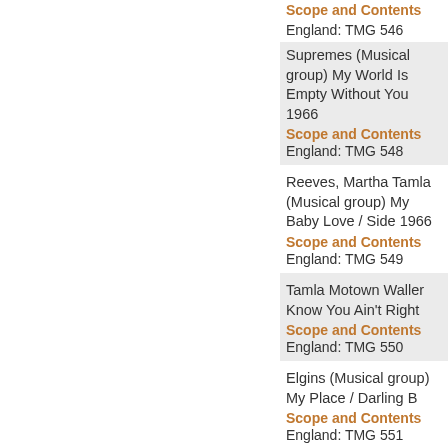Scope and Contents
England: TMG 546
Supremes (Musical group) My World Is Empty Without You 1966
Scope and Contents
England: TMG 548
Reeves, Martha Tamla Motown (Musical group) My Baby Love / Side 1966
Scope and Contents
England: TMG 549
Tamla Motown Waller Know You Ain't Right
Scope and Contents
England: TMG 550
Elgins (Musical group) My Place / Darling B
Scope and Contents
England: TMG 551